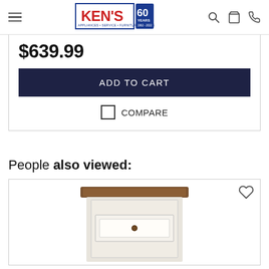[Figure (logo): Ken's Appliances Service Furniture Mattresses 60 Years 1962-2022 logo]
$639.99
ADD TO CART
COMPARE
People also viewed:
[Figure (photo): Nightstand with brown top and white/cream body with single drawer and dark knob handle]